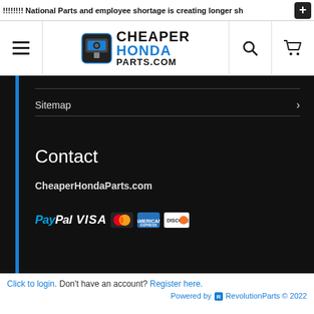!!!!!!!! National Parts and employee shortage is creating longer sh
[Figure (logo): CheaperHondaParts.com logo with OBD connector icon]
Sitemap
Contact
CheaperHondaParts.com
[Figure (other): Payment icons: PayPal, VISA, Mastercard, American Express, Discover]
Click to login. Don't have an account? Register here. Powered by RevolutionParts © 2022